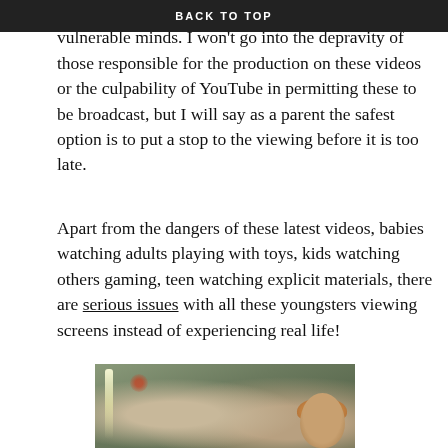BACK TO TOP
content to be thrust upon even our youngest most vulnerable minds. I won't go into the depravity of those responsible for the production on these videos or the culpability of YouTube in permitting these to be broadcast, but I will say as a parent the safest option is to put a stop to the viewing before it is too late.
Apart from the dangers of these latest videos, babies watching adults playing with toys, kids watching others gaming, teen watching explicit materials, there are serious issues with all these youngsters viewing screens instead of experiencing real life!
[Figure (photo): A child with reddish-brown hair viewed from behind or side, with a blurred outdoor background featuring a vertical light streak and a blurred red object.]